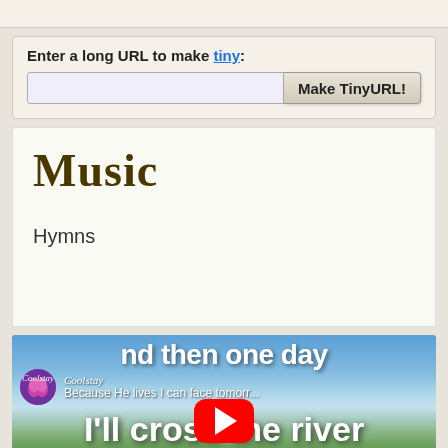Enter a long URL to make tiny:
Music
Hymns
[Figure (screenshot): YouTube video thumbnail showing lyrics 'and then one day', 'I'll cross the river', 'I'll fight life's final' with channel icon 'Coolstay' and title 'Because He lives I can face tomorrow...' with YouTube play button overlay]